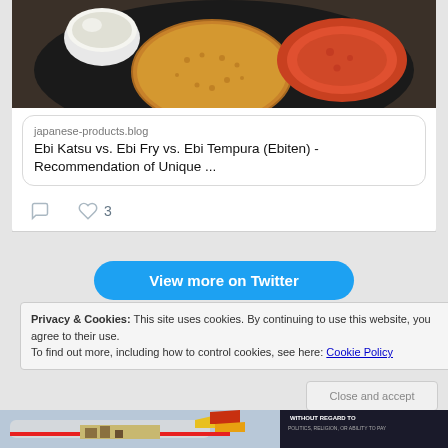[Figure (photo): Photograph of fried seafood (ebi katsu/shrimp cutlets) on a dark plate with a small white ramekin of dipping sauce]
japanese-products.blog
Ebi Katsu vs. Ebi Fry vs. Ebi Tempura (Ebiten) - Recommendation of Unique ...
♡ 3
View more on Twitter
Privacy & Cookies: This site uses cookies. By continuing to use this website, you agree to their use.
To find out more, including how to control cookies, see here: Cookie Policy
[Figure (photo): Advertisement banner showing an airplane being loaded with cargo, American Airlines branding visible. Dark overlay section with text: WITHOUT REGARD TO POLITICS, RELIGION, OR ABILITY TO PAY]